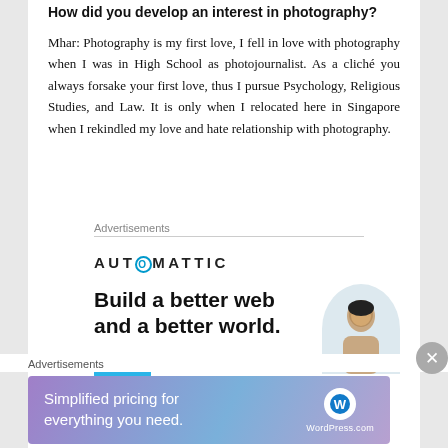How did you develop an interest in photography?
Mhar: Photography is my first love, I fell in love with photography when I was in High School as photojournalist. As a cliché you always forsake your first love, thus I pursue Psychology, Religious Studies, and Law. It is only when I relocated here in Singapore when I rekindled my love and hate relationship with photography.
Advertisements
[Figure (logo): Automattic logo with tagline 'Build a better web and a better world.' and a blue button, with a person illustration]
Advertisements
[Figure (infographic): WordPress.com advertisement banner: 'Simplified pricing for everything you need.' with WordPress.com logo]